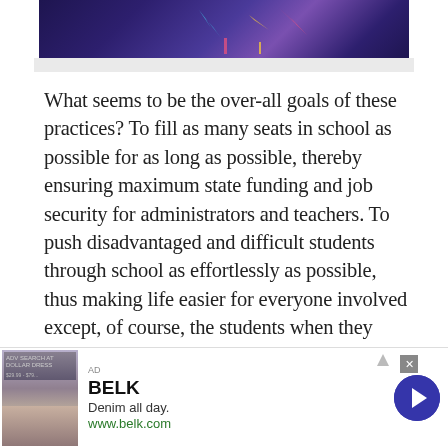[Figure (illustration): Partial view of a decorative banner/header image with dark purple/blue background and colorful design elements, partially visible at top of page]
What seems to be the over-all goals of these practices? To fill as many seats in school as possible for as long as possible, thereby ensuring maximum state funding and job security for administrators and teachers. To push disadvantaged and difficult students through school as effortlessly as possible, thus making life easier for everyone involved except, of course, the students when they have to dive into the sea of adulthood without knowing how to swim or in possession of a life preserver. To give these students a high-school diploma regardless of whether they actually earned it, allowing schools to maintain the appearance of educating young people while, in
[Figure (advertisement): BELK advertisement banner. Shows clothing/denim imagery on left, BELK brand name in bold, tagline 'Denim all day.' and URL www.belk.com. Blue circular arrow button on right.]